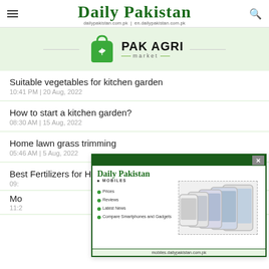Daily Pakistan | dailypakistan.com.pk | en.dailypakistan.com.pk
[Figure (logo): PAK AGRI market logo with green shopping bag icon]
Suitable vegetables for kitchen garden
10:41 PM | 20 Aug, 2022
How to start a kitchen garden?
08:30 AM | 15 Aug, 2022
Home lawn grass trimming
05:46 AM | 5 Aug, 2022
Best Fertilizers for Home Garden
09:...
Mo...
11:2...
[Figure (screenshot): Daily Pakistan Mobiles popup ad showing phone images, prices, reviews, latest news, compare smartphones and gadgets. URL: mobiles.dailypakistan.com.pk]